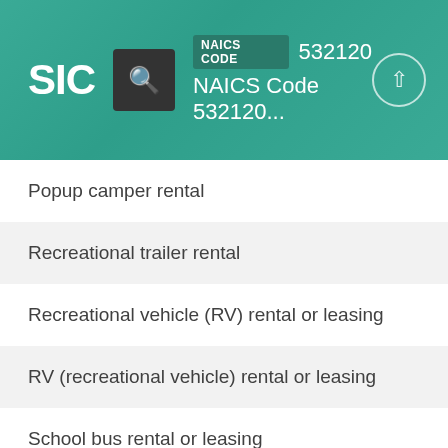NAICS CODE 532120 — NAICS Code 532120...
Popup camper rental
Recreational trailer rental
Recreational vehicle (RV) rental or leasing
RV (recreational vehicle) rental or leasing
School bus rental or leasing
Semi-trailer rental or leasing
Trailer rental or leasing